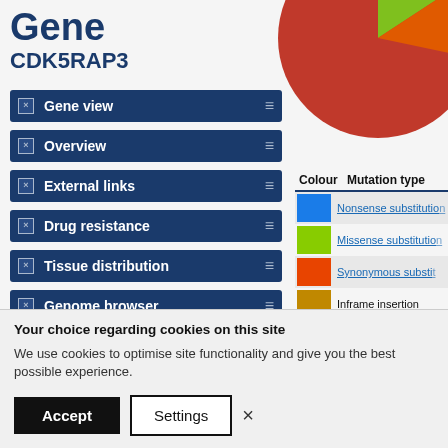Gene
CDK5RAP3
[Figure (pie-chart): Partial pie chart visible in top-right corner showing mutation type distribution. Large dark red/brown segment and a small yellow-green segment visible.]
Gene view
Overview
External links
Drug resistance
Tissue distribution
Genome browser
Mutation distribution
| Colour | Mutation type |
| --- | --- |
| [blue] | Nonsense substitution |
| [lime] | Missense substitution |
| [red-orange] | Synonymous substitution |
| [dark-yellow] | Inframe insertion |
| [purple] | Frameshift insertion |
| [teal] | Inframe deletion |
Your choice regarding cookies on this site
We use cookies to optimise site functionality and give you the best possible experience.
Accept  Settings  ×